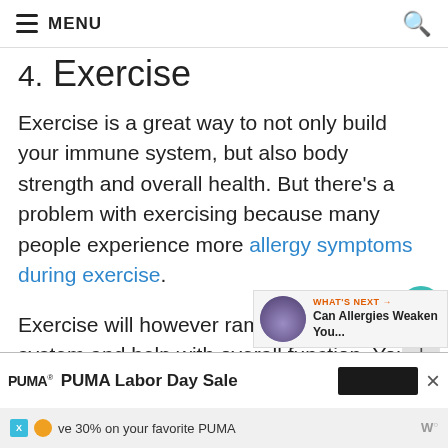≡ MENU
4. Exercise
Exercise is a great way to not only build your immune system, but also body strength and overall health. But there's a problem with exercising because many people experience more allergy symptoms during exercise.
Exercise will however ramp up your immune system and help with overall function. Your heart and lungs will be strengthened as will your muscles and joints.